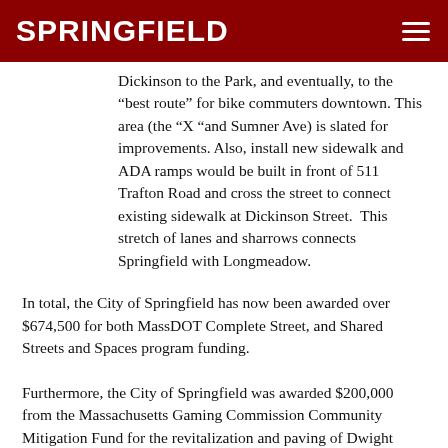SPRINGFIELD
Dickinson to the Park, and eventually, to the “best route” for bike commuters downtown. This area (the “X “and Sumner Ave) is slated for improvements. Also, install new sidewalk and ADA ramps would be built in front of 511 Trafton Road and cross the street to connect existing sidewalk at Dickinson Street.  This stretch of lanes and sharrows connects Springfield with Longmeadow.
In total, the City of Springfield has now been awarded over $674,500 for both MassDOT Complete Street, and Shared Streets and Spaces program funding.
Furthermore, the City of Springfield was awarded $200,000 from the Massachusetts Gaming Commission Community Mitigation Fund for the revitalization and paving of Dwight Street from the arch to Carew Street, and Hampden Street from Main Street to East Columbus Ave.
Also, through the State of Massachusetts Transportation Infrastructure Enhancement Trust Fund, the City of Springfield